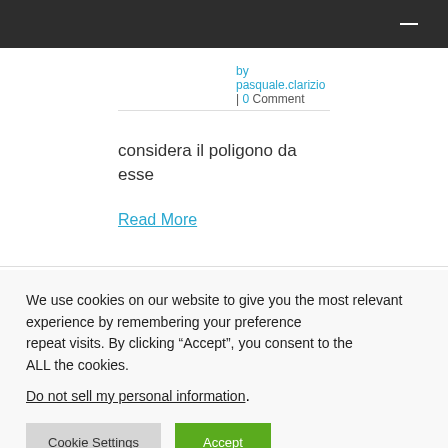by pasquale.clarizio | 0 Comment
considera il poligono da esse
Read More
We use cookies on our website to give you the most relevant experience by remembering your preferences and repeat visits. By clicking “Accept”, you consent to the use of ALL the cookies.
Do not sell my personal information.
Cookie Settings   Accept